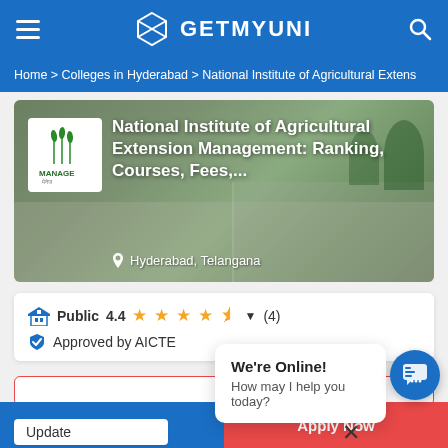GETMYUNI
Home > Colleges in Hyderabad > National Institute of Agricultural Extens
National Institute of Agricultural Extension Management: Ranking, Courses, Fees,...
Hyderabad, Telangana
Public  4.4  ▼  (4)
Approved by AICTE
We're Online!
How may I help you today?
Update
Talk To Experts
Apply Now